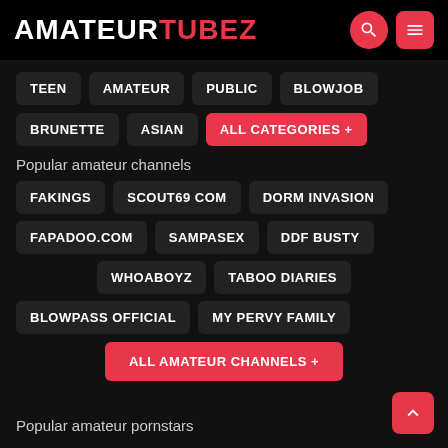AMATEURTUBEZ
TEEN
AMATEUR
PUBLIC
BLOWJOB
BRUNETTE
ASIAN
ALL CATEGORIES +
Popular amateur channels
FAKINGS
SCOUT69 COM
DORM INVASION
FAPADOO.COM
SAMPASEX
DDF BUSTY
WHOABOYZ
TABOO DIARIES
BLOWPASS OFFICIAL
MY PERVY FAMILY
ALL AMATEUR CHANNELS +
Popular amateur pornstars